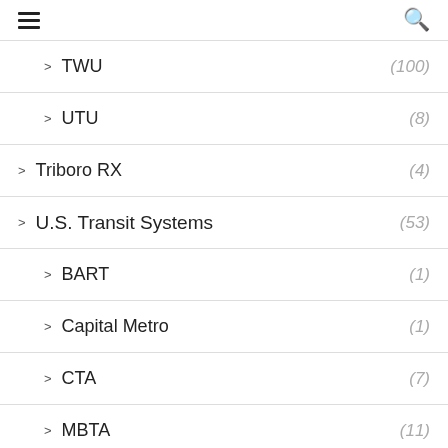≡  🔍
TWU (100)
UTU (8)
Triboro RX (4)
U.S. Transit Systems (53)
BART (1)
Capital Metro (1)
CTA (7)
MBTA (11)
SEPTA (5)